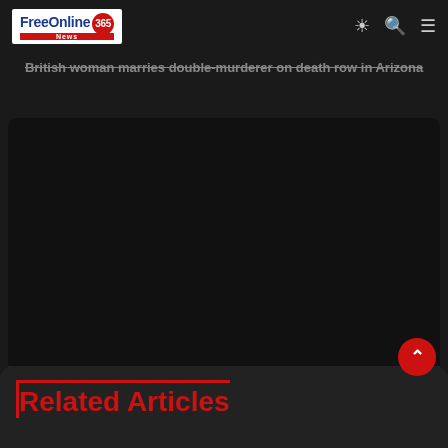FreeOnline 365 News
British woman marries double-murderer on death row in Arizona
[Figure (photo): Dark/black image placeholder for article about child's body found after tour boat sank in Japan's far north]
Child's body found after tour boat sank in Japan's far north
Related Articles